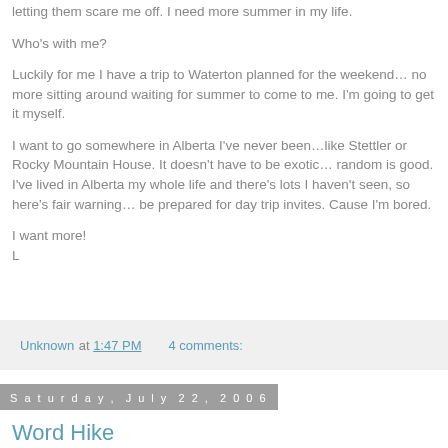letting them scare me off. I need more summer in my life.
Who's with me?
Luckily for me I have a trip to Waterton planned for the weekend… no more sitting around waiting for summer to come to me. I'm going to get it myself.
I want to go somewhere in Alberta I've never been…like Stettler or Rocky Mountain House. It doesn't have to be exotic… random is good. I've lived in Alberta my whole life and there's lots I haven't seen, so here's fair warning… be prepared for day trip invites. Cause I'm bored.
I want more!
L
Unknown at 1:47 PM   4 comments:
Saturday, July 22, 2006
Word Hike